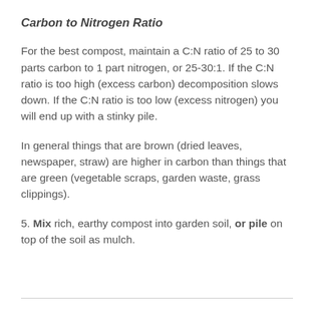Carbon to Nitrogen Ratio
For the best compost, maintain a C:N ratio of 25 to 30 parts carbon to 1 part nitrogen, or 25-30:1. If the C:N ratio is too high (excess carbon) decomposition slows down. If the C:N ratio is too low (excess nitrogen) you will end up with a stinky pile.
In general things that are brown (dried leaves, newspaper, straw) are higher in carbon than things that are green (vegetable scraps, garden waste, grass clippings).
5. Mix rich, earthy compost into garden soil, or pile on top of the soil as mulch.